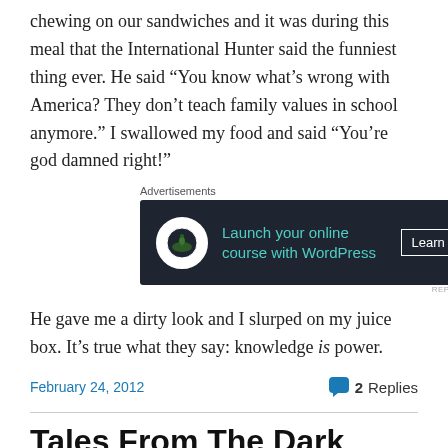chewing on our sandwiches and it was during this meal that the International Hunter said the funniest thing ever. He said “You know what’s wrong with America? They don’t teach family values in school anymore.” I swallowed my food and said “You’re god damned right!”
[Figure (other): Advertisement banner for launching online courses with WordPress. Dark background with teal text and 'Learn More' button.]
He gave me a dirty look and I slurped on my juice box. It’s true what they say: knowledge is power.
February 24, 2012    2 Replies
Tales From The Dark Continent: The Hippo